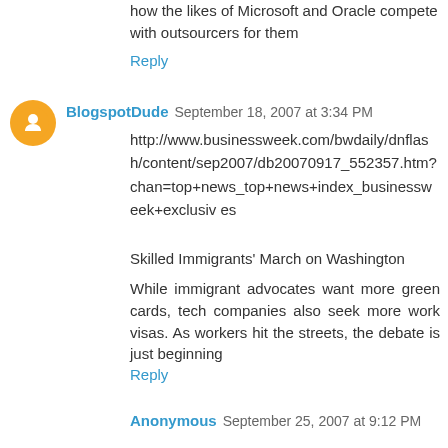how the likes of Microsoft and Oracle compete with outsourcers for them
Reply
BlogspotDude  September 18, 2007 at 3:34 PM
http://www.businessweek.com/bwdaily/dnflash/content/sep2007/db20070917_552357.htm?chan=top+news_top+news+index_businessweek+exclusives
Skilled Immigrants' March on Washington
While immigrant advocates want more green cards, tech companies also seek more work visas. As workers hit the streets, the debate is just beginning
Reply
Anonymous  September 25, 2007 at 9:12 PM